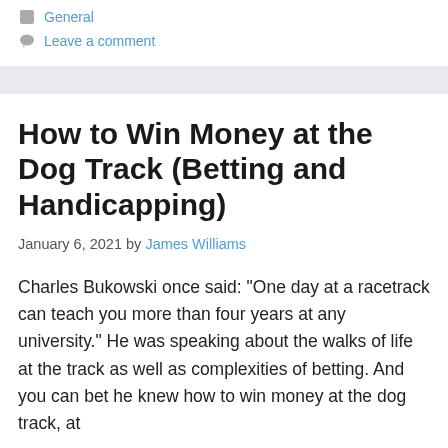General
Leave a comment
How to Win Money at the Dog Track (Betting and Handicapping)
January 6, 2021 by James Williams
Charles Bukowski once said: “One day at a racetrack can teach you more than four years at any university.” He was speaking about the walks of life at the track as well as complexities of betting. And you can bet he knew how to win money at the dog track, at